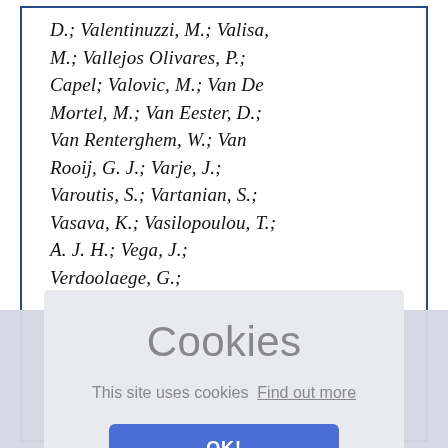D.; Valentinuzzi, M.; Valisa, M.; Vallejos Olivares, P.; Capel; Valovic, M.; Van De Mortel, M.; Van Eester, D.; Van Renterghem, W.; Van Rooij, G. J.; Varje, J.; Varoutis, S.; Vartanian, S.; Vasava, K.; Vasilopoulou, T.; A. J. H.; Vega, J.; Verdoolaege, G.; Verhoeven, R.; Verona, C.;
[Figure (screenshot): Cookie consent dialog overlay with title 'Cookies', text 'This site uses cookies Find out more', and an 'OK!' button in blue]
Vu, T.; Pires De Sa, W. W.;